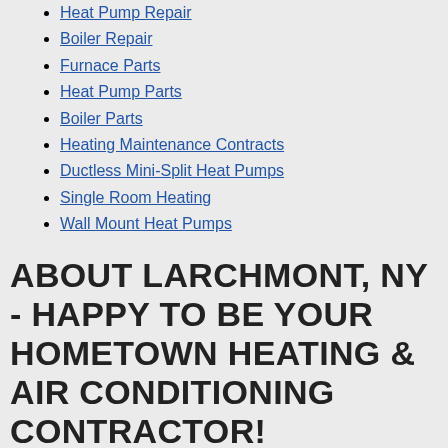Heat Pump Repair
Boiler Repair
Furnace Parts
Heat Pump Parts
Boiler Parts
Heating Maintenance Contracts
Ductless Mini-Split Heat Pumps
Single Room Heating
Wall Mount Heat Pumps
ABOUT LARCHMONT, NY - HAPPY TO BE YOUR HOMETOWN HEATING & AIR CONDITIONING CONTRACTOR!
Larchmont is a community not far from New York City with the suburban feeling that families love and an easy commute for people who work in the big city. This part of the country is